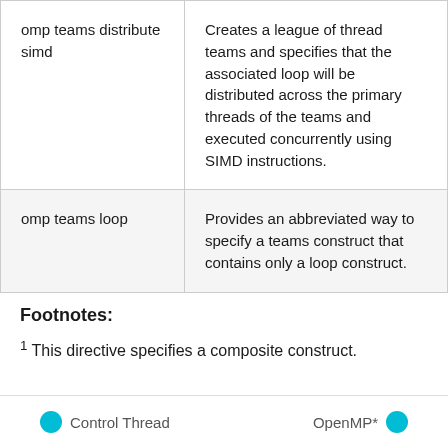| omp teams distribute simd | Creates a league of thread teams and specifies that the associated loop will be distributed across the primary threads of the teams and executed concurrently using SIMD instructions. |
| omp teams loop | Provides an abbreviated way to specify a teams construct that contains only a loop construct. |
Footnotes:
1 This directive specifies a composite construct.
Control Thread   OpenMP*